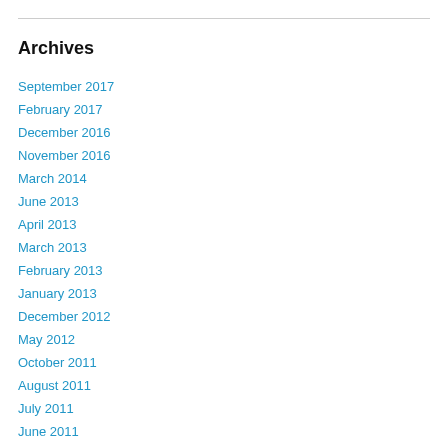Archives
September 2017
February 2017
December 2016
November 2016
March 2014
June 2013
April 2013
March 2013
February 2013
January 2013
December 2012
May 2012
October 2011
August 2011
July 2011
June 2011